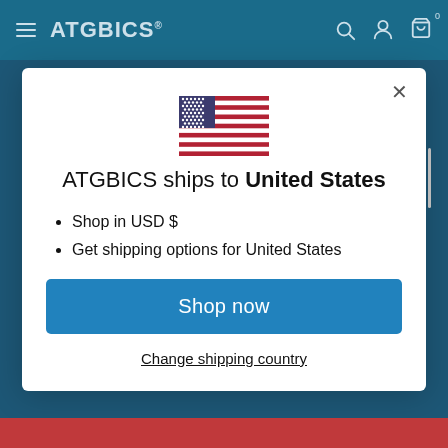ATGBICS
[Figure (illustration): US flag icon centered in modal dialog]
ATGBICS ships to United States
Shop in USD $
Get shipping options for United States
Shop now
Change shipping country